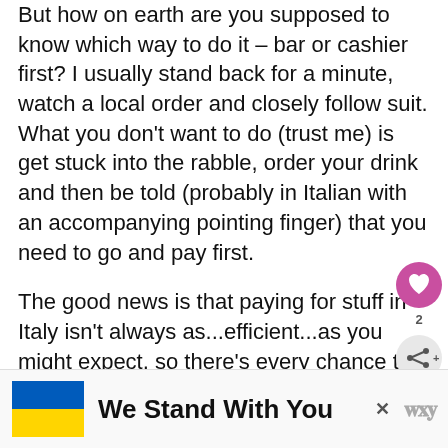But how on earth are you supposed to know which way to do it – bar or cashier first? I usually stand back for a minute, watch a local order and closely follow suit. What you don't want to do (trust me) is get stuck into the rabble, order your drink and then be told (probably in Italian with an accompanying pointing finger) that you need to go and pay first.
The good news is that paying for stuff in Italy isn't always as...efficient...as you might expect, so there's every chance that there will be a queue of people waiting to pay if you do need to go to the cashier fi...
[Figure (infographic): Social media sidebar with heart/like button showing count of 2, and a share button]
[Figure (infographic): What's Next panel showing 'The 18 Best Things To D...' with a circular thumbnail of a scenic location]
[Figure (infographic): Advertisement banner with Ukraine flag (blue and yellow), text 'We Stand With You', close button X, and logo marks]